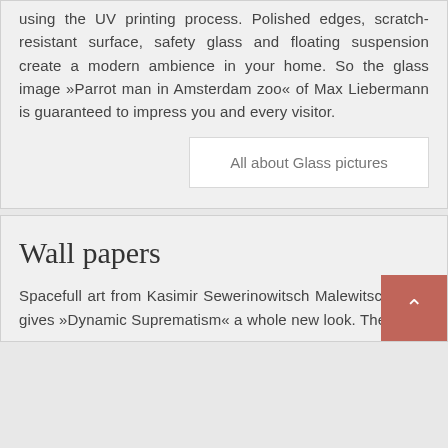using the UV printing process. Polished edges, scratch-resistant surface, safety glass and floating suspension create a modern ambience in your home. So the glass image »Parrot man in Amsterdam zoo« of Max Liebermann is guaranteed to impress you and every visitor.
All about Glass pictures
Wall papers
Spacefull art from Kasimir Sewerinowitsch Malewitsch. This gives »Dynamic Suprematism« a whole new look. The